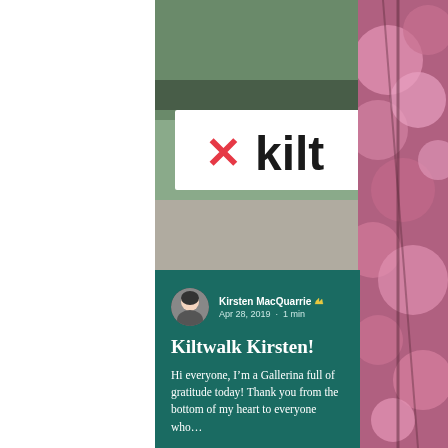[Figure (photo): A person in a costume running at a Kiltwalk event, wearing a plaid skirt, white t-shirt with black spots, pink draped fabric, and colorful accessories. A Kiltwalk banner and Arnold Clark sponsor banner are visible in the background.]
[Figure (photo): Blurred pink cherry blossom flowers on the right side of the image.]
Kirsten MacQuarrie
Apr 28, 2019 · 1 min
Kiltwalk Kirsten!
Hi everyone, I'm a Gallerina full of gratitude today! Thank you from the bottom of my heart to everyone who…